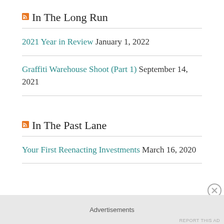In The Long Run
2021 Year in Review January 1, 2022
Graffiti Warehouse Shoot (Part 1) September 14, 2021
In The Past Lane
Your First Reenacting Investments March 16, 2020
Advertisements